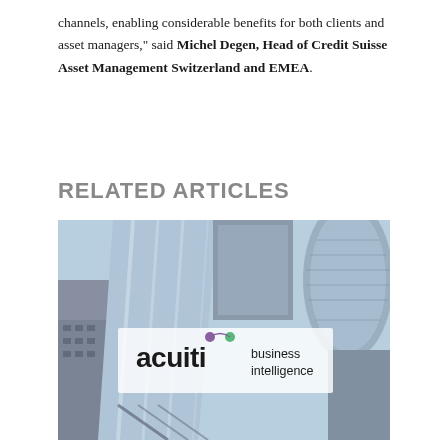channels, enabling considerable benefits for both clients and asset managers," said Michel Degen, Head of Credit Suisse Asset Management Switzerland and EMEA.
RELATED ARTICLES
[Figure (photo): Photo of city skyscrapers taken from ground looking up, overlaid with Acuiti Business Intelligence logo in center]